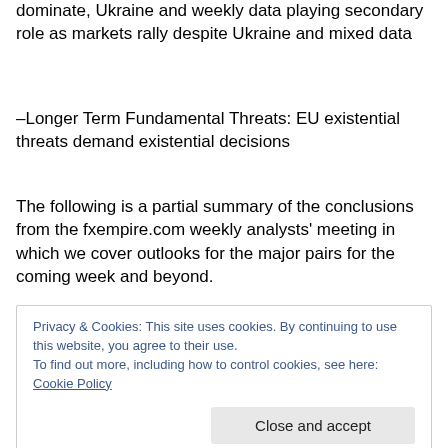dominate, Ukraine and weekly data playing secondary role as markets rally despite Ukraine and mixed data
–Longer Term Fundamental Threats: EU existential threats demand existential decisions
The following is a partial summary of the conclusions from the fxempire.com weekly analysts' meeting in which we cover outlooks for the major pairs for the coming week and beyond.
Privacy & Cookies: This site uses cookies. By continuing to use this website, you agree to their use.
To find out more, including how to control cookies, see here: Cookie Policy
Close and accept